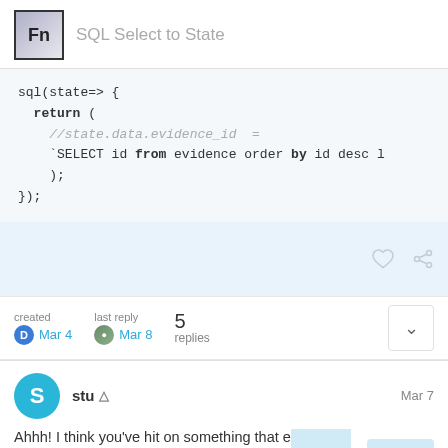SQL Select to State
sql(state=> {
  return (
    //state.data.evidence_id =
    `SELECT id from evidence order by id desc l
    );
});
created Mar 4   last reply Mar 8   5 replies
stu  Mar 7
Ahhh! I think you've hit on something that everyone gets tripped up on.
1 / 6